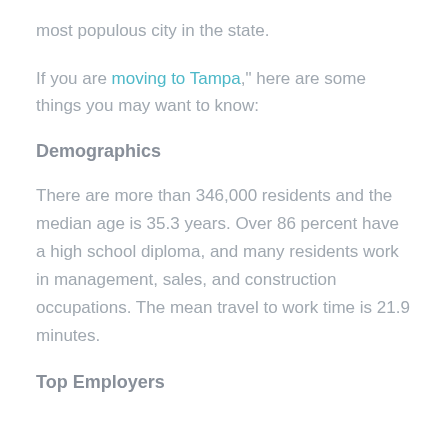most populous city in the state.
If you are moving to Tampa," here are some things you may want to know:
Demographics
There are more than 346,000 residents and the median age is 35.3 years. Over 86 percent have a high school diploma, and many residents work in management, sales, and construction occupations. The mean travel to work time is 21.9 minutes.
Top Employers